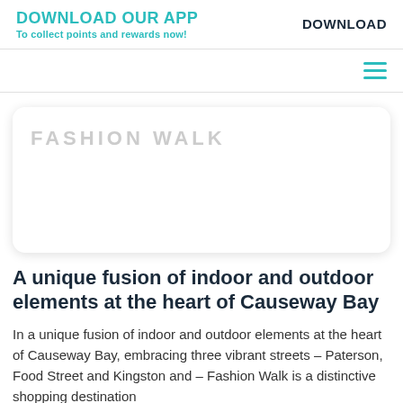DOWNLOAD OUR APP
To collect points and rewards now!
DOWNLOAD
[Figure (other): Hamburger menu icon (three horizontal lines) in teal color]
[Figure (logo): Fashion Walk logo text in light grey uppercase letters inside a rounded white card with shadow]
A unique fusion of indoor and outdoor elements at the heart of Causeway Bay
In a unique fusion of indoor and outdoor elements at the heart of Causeway Bay, embracing three vibrant streets – Paterson, Food Street and Kingston and – Fashion Walk is a distinctive shopping destination